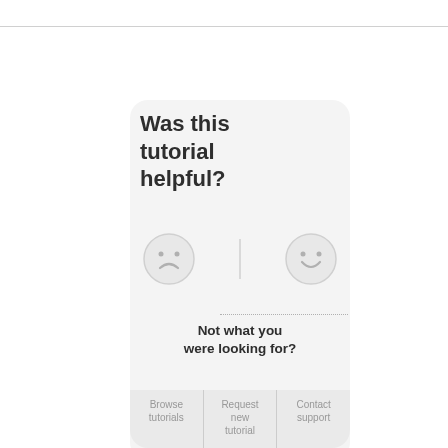[Figure (screenshot): A UI card widget asking 'Was this tutorial helpful?' with sad and happy emoji face buttons, a dotted divider, 'Not what you were looking for?' text, and three buttons: Browse tutorials, Request new tutorial, Contact support.]
Was this tutorial helpful?
Not what you were looking for?
Browse tutorials
Request new tutorial
Contact support